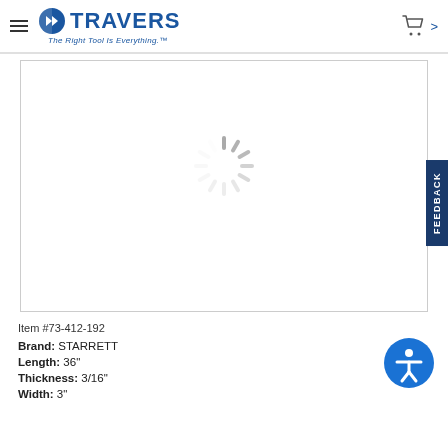Travers — The Right Tool Is Everything.
[Figure (other): Loading spinner (animated spinner icon indicating image is loading) inside a bordered product image box]
Item #73-412-192
Brand: STARRETT
Length: 36"
Thickness: 3/16"
Width: 3"